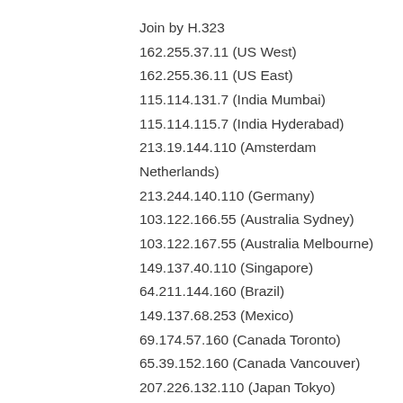Join by H.323
162.255.37.11 (US West)
162.255.36.11 (US East)
115.114.131.7 (India Mumbai)
115.114.115.7 (India Hyderabad)
213.19.144.110 (Amsterdam Netherlands)
213.244.140.110 (Germany)
103.122.166.55 (Australia Sydney)
103.122.167.55 (Australia Melbourne)
149.137.40.110 (Singapore)
64.211.144.160 (Brazil)
149.137.68.253 (Mexico)
69.174.57.160 (Canada Toronto)
65.39.152.160 (Canada Vancouver)
207.226.132.110 (Japan Tokyo)